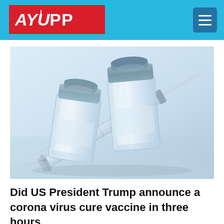AYUPP
[Figure (photo): Two medical vaccine vials with a syringe on a light blue-grey reflective surface]
Did US President Trump announce a corona virus cure vaccine in three hours